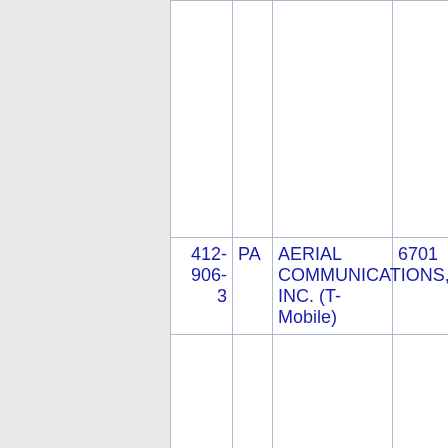| Phone | State | Name | Number |
| --- | --- | --- | --- |
|  |  |  |  |
| 412-906-3 | PA | AERIAL COMMUNICATIONS, INC. (T-Mobile) | 6701 |